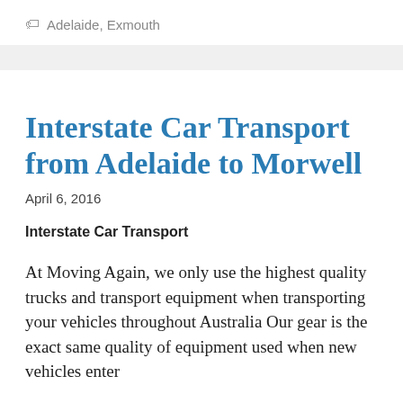Adelaide, Exmouth
Interstate Car Transport from Adelaide to Morwell
April 6, 2016
Interstate Car Transport
At Moving Again, we only use the highest quality trucks and transport equipment when transporting your vehicles throughout Australia Our gear is the exact same quality of equipment used when new vehicles enter